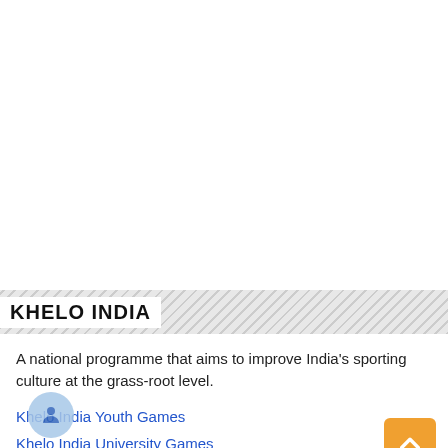KHELO INDIA
A national programme that aims to improve India’s sporting culture at the grass-root level.
Khelo India Youth Games
Khelo India University Games